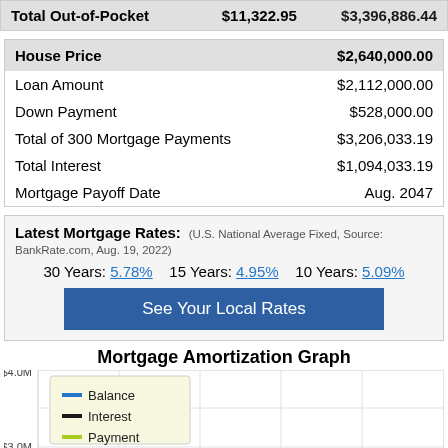|  | Monthly | Total |
| --- | --- | --- |
| Total Out-of-Pocket | $11,322.95 | $3,396,886.44 |
| Item | Value |
| --- | --- |
| House Price | $2,640,000.00 |
| Loan Amount | $2,112,000.00 |
| Down Payment | $528,000.00 |
| Total of 300 Mortgage Payments | $3,206,033.19 |
| Total Interest | $1,094,033.19 |
| Mortgage Payoff Date | Aug. 2047 |
Latest Mortgage Rates: (U.S. National Average Fixed, Source: BankRate.com, Aug. 19, 2022)
30 Years: 5.78%   15 Years: 4.95%   10 Years: 5.09%
See Your Local Rates
Mortgage Amortization Graph
[Figure (line-chart): Amortization graph showing Balance, Interest, and Payment over time. Y-axis shows $3.0M and $4.0M labels visible. Chart area partially shown with legend indicating Balance (blue line), Interest (dark line), Payment (yellow-green line).]